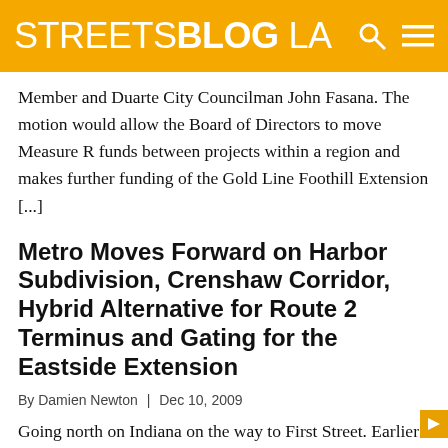STREETSBLOG LA
Member and Duarte City Councilman John Fasana. The motion would allow the Board of Directors to move Measure R funds between projects within a region and makes further funding of the Gold Line Foothill Extension [...]
Metro Moves Forward on Harbor Subdivision, Crenshaw Corridor, Hybrid Alternative for Route 2 Terminus and Gating for the Eastside Extension
By Damien Newton | Dec 10, 2009
Going north on Indiana on the way to First Street. Earlier today the Metro Board of Directors unanimously approved the light rail alternative for the Crenshaw Corridor and agreed to study making the light rail run underground for a dozen blocks between 48th and 59th street over the plans of the Metro staff. According to [...]